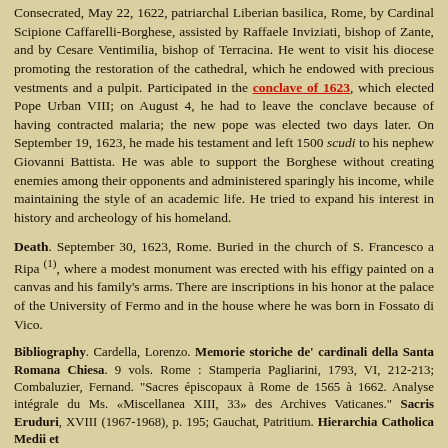Consecrated, May 22, 1622, patriarchal Liberian basilica, Rome, by Cardinal Scipione Caffarelli-Borghese, assisted by Raffaele Inviziati, bishop of Zante, and by Cesare Ventimilia, bishop of Terracina. He went to visit his diocese promoting the restoration of the cathedral, which he endowed with precious vestments and a pulpit. Participated in the conclave of 1623, which elected Pope Urban VIII; on August 4, he had to leave the conclave because of having contracted malaria; the new pope was elected two days later. On September 19, 1623, he made his testament and left 1500 scudi to his nephew Giovanni Battista. He was able to support the Borghese without creating enemies among their opponents and administered sparingly his income, while maintaining the style of an academic life. He tried to expand his interest in history and archeology of his homeland.
Death. September 30, 1623, Rome. Buried in the church of S. Francesco a Ripa (1), where a modest monument was erected with his effigy painted on a canvas and his family's arms. There are inscriptions in his honor at the palace of the University of Fermo and in the house where he was born in Fossato di Vico.
Bibliography. Cardella, Lorenzo. Memorie storiche de' cardinali della Santa Romana Chiesa. 9 vols. Rome : Stamperia Pagliarini, 1793, VI, 212-213; Combaluzier, Fernand. "Sacres épiscopaux à Rome de 1565 à 1662. Analyse intégrale du Ms. «Miscellanea XIII, 33» des Archives Vaticanes." Sacris Eruduri, XVIII (1967-1968), p. 195; Gauchat, Patritium. Hierarchia Catholica Medii et